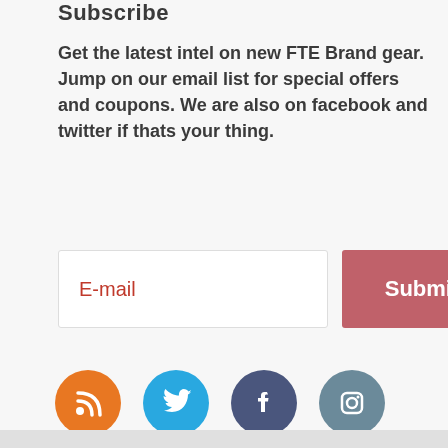Subscribe
Get the latest intel on new FTE Brand gear. Jump on our email list for special offers and coupons. We are also on facebook and twitter if thats your thing.
[Figure (other): Email subscription form with E-mail input field and Submit button]
[Figure (other): Social media icons: RSS (orange), Twitter (blue), Facebook (dark blue), Instagram (grey-blue)]